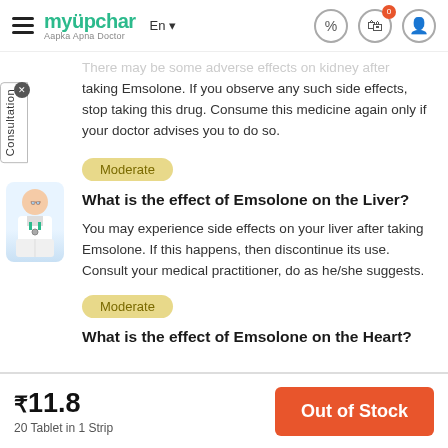myUpchar — Aapka Apna Doctor | En | header icons
There may be some adverse effects on kidney after taking Emsolone. If you observe any such side effects, stop taking this drug. Consume this medicine again only if your doctor advises you to do so.
What is the effect of Emsolone on the Liver?
You may experience side effects on your liver after taking Emsolone. If this happens, then discontinue its use. Consult your medical practitioner, do as he/she suggests.
What is the effect of Emsolone on the Heart?
₹11.8 | 20 Tablet in 1 Strip | Out of Stock